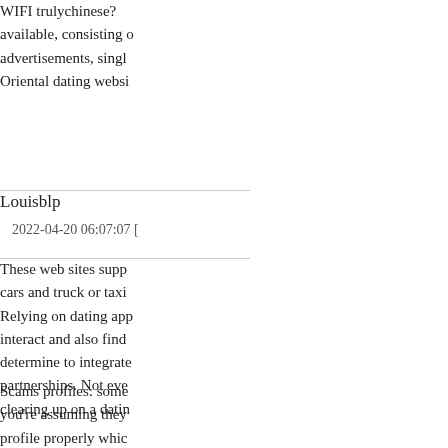WIFI trulychinese? available, consisting of advertisements, single Oriental dating websi
Louisblp
2022-04-20 06:07:07 [
These web sites supp cars and truck or taxi Relying on dating app interact and also find determine to integrate partnerships. Not eve clearing up on a datin
Scams profiles: some you're assuming they profile properly whic following it with you before transitioning to try something a bit di